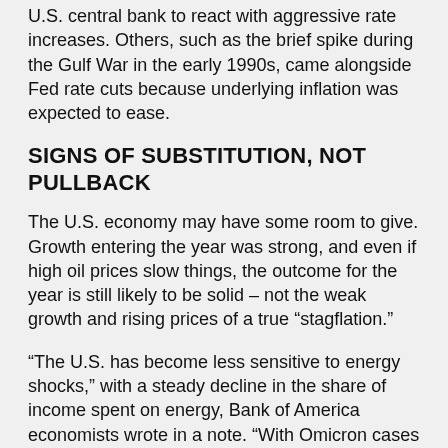U.S. central bank to react with aggressive rate increases. Others, such as the brief spike during the Gulf War in the early 1990s, came alongside Fed rate cuts because underlying inflation was expected to ease.
SIGNS OF SUBSTITUTION, NOT PULLBACK
The U.S. economy may have some room to give. Growth entering the year was strong, and even if high oil prices slow things, the outcome for the year is still likely to be solid – not the weak growth and rising prices of a true “stagflation.”
“The U.S. has become less sensitive to energy shocks,” with a steady decline in the share of income spent on energy, Bank of America economists wrote in a note. “With Omicron cases fading, the reopening of the service sector has resumed… Excess savings built up over the last two years can fund this rebound.”